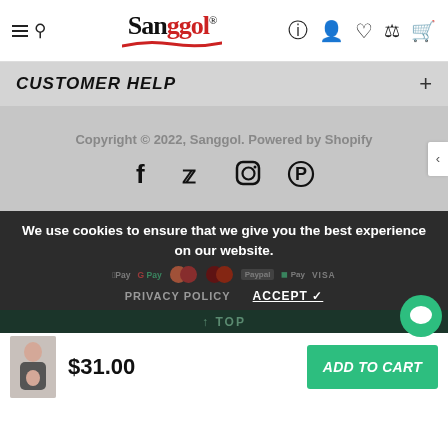[Figure (screenshot): Sanggol website header with hamburger menu, search icon, Sanggol logo with red underline, and navigation icons (help, user, heart, compare, cart)]
CUSTOMER HELP
Copyright © 2022, Sanggol. Powered by Shopify
[Figure (other): Social media icons: Facebook, Twitter, Instagram, Pinterest]
We use cookies to ensure that we give you the best experience on our website.
PRIVACY POLICY   ACCEPT ✓
↑ TOP
$31.00
ADD TO CART